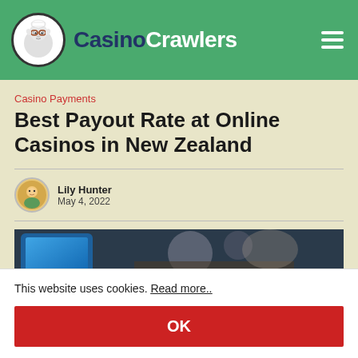CasinoCrawlers
Casino Payments
Best Payout Rate at Online Casinos in New Zealand
Lily Hunter
May 4, 2022
[Figure (photo): Close-up photo of a smartphone and blurred background objects on a table]
This website uses cookies. Read more..
OK